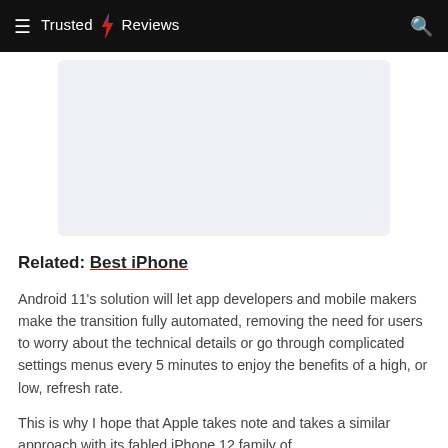≡  Trusted ⚡ Reviews  🔍
[Figure (other): Light blue/grey rectangular advertisement placeholder box]
Related: Best iPhone
Android 11's solution will let app developers and mobile makers make the transition fully automated, removing the need for users to worry about the technical details or go through complicated settings menus every 5 minutes to enjoy the benefits of a high, or low, refresh rate.
This is why I hope that Apple takes note and takes a similar approach with its fabled iPhone 12 family of